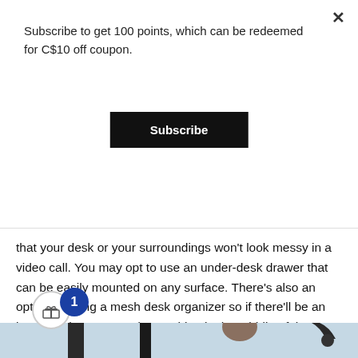Subscribe to get 100 points, which can be redeemed for C$10 off coupon.
Subscribe
that your desk or your surroundings won't look messy in a video call. You may opt to use an under-desk drawer that can be easily mounted on any surface. There's also an option of using a mesh desk organizer so if there'll be an instance that you need something in the middle of the meeting, the item will be easy to spot and grab. You may also use a mobile file cabinet that has rolling caster wheels that you may drag when you need something stored inside of it.
[Figure (photo): A person sitting at a desk in a home office setting with a lamp visible, partially cropped at the bottom of the page. UI overlay showing a gift icon with a badge showing '1'.]